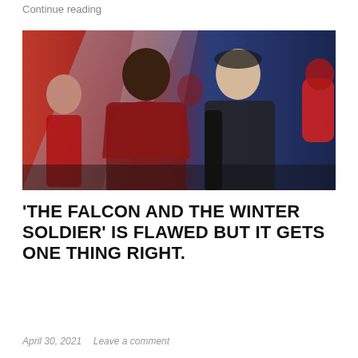Continue reading
[Figure (photo): Promotional image for 'The Falcon and the Winter Soldier' TV series showing two main characters back-to-back against a red and blue striped background, with additional characters in the background.]
‘THE FALCON AND THE WINTER SOLDIER’ IS FLAWED BUT IT GETS ONE THING RIGHT.
April 30, 2021   Leave a comment